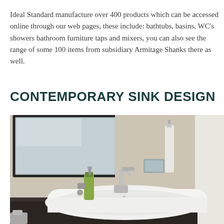Ideal Standard manufacture over 400 products which can be accessed online through our web pages, these include: bathtubs, basins, WC's showers bathroom furniture taps and mixers, you can also see the range of some 100 items from subsidiary Armitage Shanks there as well.
CONTEMPORARY SINK DESIGN
[Figure (photo): A contemporary bathroom sink with chrome faucet and soap dispenser, mounted on a dark countertop against a beige wall. A rectangular mirror is visible above the sink.]